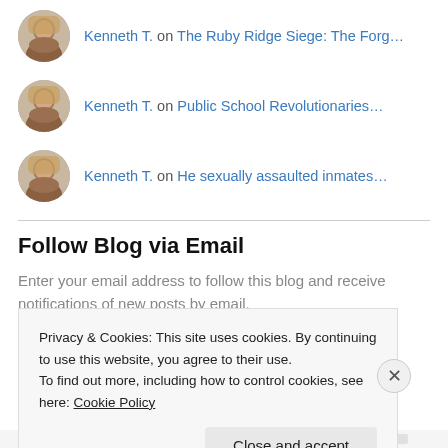Kenneth T. on The Ruby Ridge Siege: The Forg…
Kenneth T. on Public School Revolutionaries…
Kenneth T. on He sexually assaulted inmates…
Follow Blog via Email
Enter your email address to follow this blog and receive notifications of new posts by email.
Privacy & Cookies: This site uses cookies. By continuing to use this website, you agree to their use.
To find out more, including how to control cookies, see here: Cookie Policy
Close and accept